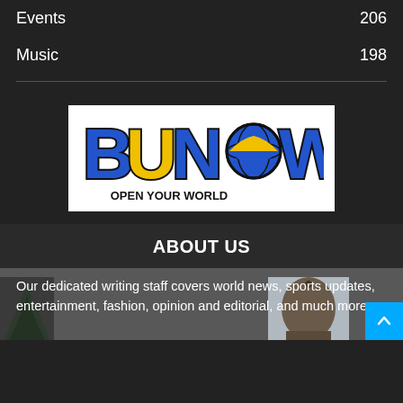Events	206
Music	198
[Figure (logo): BUNow logo with globe in the O, tagline OPEN YOUR WORLD]
ABOUT US
Our dedicated writing staff covers world news, sports updates, entertainment, fashion, opinion and editorial, and much more.